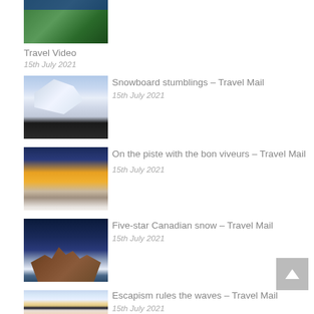[Figure (photo): Partially visible thumbnail image showing trees/foliage with a blue bar at top]
Travel Video
15th July 2021
[Figure (photo): Snow-covered mountain peaks with a person in foreground wearing ski gear]
Snowboard stumblings – Travel Mail
15th July 2021
[Figure (photo): Ski resort at dusk/twilight with orange sky and snow-covered landscape]
On the piste with the bon viveurs – Travel Mail
15th July 2021
[Figure (photo): Snow-covered log cabin in Canada at night with warm lights inside]
Five-star Canadian snow – Travel Mail
15th July 2021
[Figure (photo): Cruise ship on water with colorful flowers in foreground]
Escapism rules the waves – Travel Mail
15th July 2021